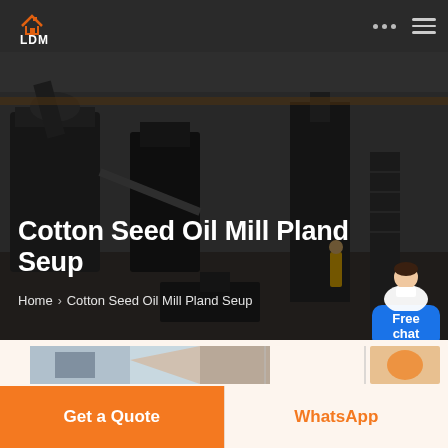[Figure (screenshot): Navigation bar with LDM logo on dark background, menu dots and hamburger icon on right]
[Figure (photo): Hero background photo of industrial oil mill plant interior with heavy machinery and equipment in a large warehouse]
Cotton Seed Oil Mill Pland Seup
Home › Cotton Seed Oil Mill Pland Seup
[Figure (photo): Free chat support button with person avatar icon in blue rounded rectangle]
[Figure (photo): Bottom image strip showing partial industrial machinery photos]
Get a Quote
WhatsApp